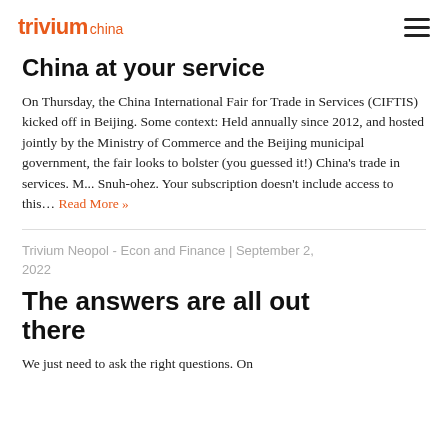trivium china
China at your service
On Thursday, the China International Fair for Trade in Services (CIFTIS) kicked off in Beijing. Some context: Held annually since 2012, and hosted jointly by the Ministry of Commerce and the Beijing municipal government, the fair looks to bolster (you guessed it!) China's trade in services. M... Snuh-ohez. Your subscription doesn't include access to this... Read More »
Trivium Neopol - Econ and Finance | September 2, 2022
The answers are all out there
We just need to ask the right questions. On